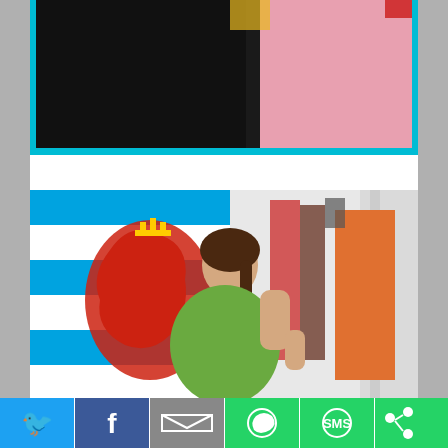[Figure (photo): A person wearing black clothing with a pink garment visible, framed with a teal/cyan border, top portion of image visible]
[Figure (photo): A woman in a green top browsing clothes on a rack, with a Luxembourg flag visible in the background]
[Figure (infographic): Social media sharing bar with Twitter, Facebook, Email, WhatsApp, SMS, and More buttons]